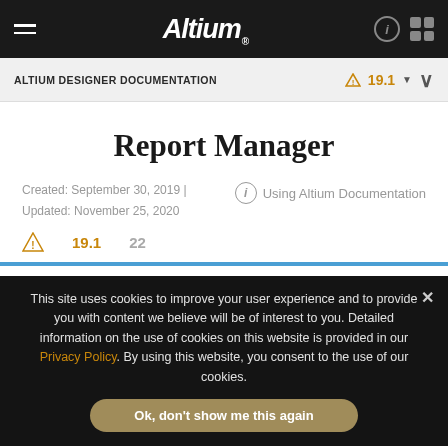Altium — Navigation bar with hamburger menu, Altium logo, help and grid icons
ALTIUM DESIGNER DOCUMENTATION   ⚠ 19.1 ▾   ∨
Report Manager
Created: September 30, 2019 | Updated: November 25, 2020
Using Altium Documentation
⚠ 19.1   22
This site uses cookies to improve your user experience and to provide you with content we believe will be of interest to you. Detailed information on the use of cookies on this website is provided in our Privacy Policy. By using this website, you consent to the use of our cookies.
Ok, don't show me this again